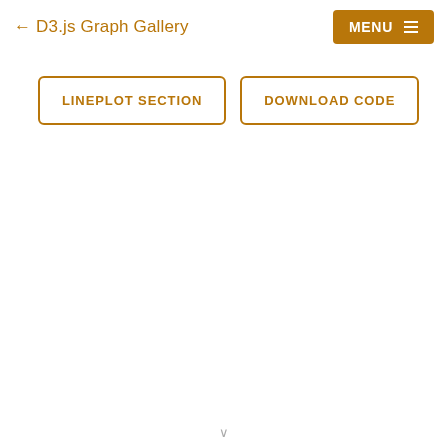← D3.js Graph Gallery
MENU ☰
LINEPLOT SECTION
DOWNLOAD CODE